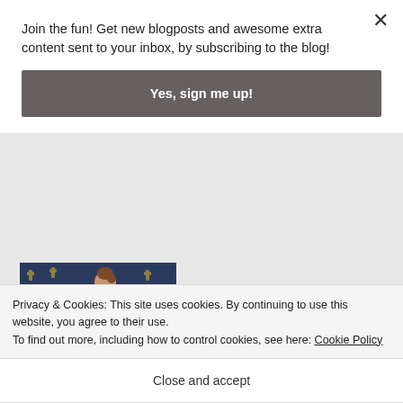Join the fun! Get new blogposts and awesome extra content sent to your inbox, by subscribing to the blog!
Yes, sign me up!
[Figure (photo): A person with brown hair tied back, wearing a dark navy/purple top, holding an open book up to a wall covered in a dark blue floral/snowflake patterned wallpaper, viewed from behind.]
Privacy & Cookies: This site uses cookies. By continuing to use this website, you agree to their use.
To find out more, including how to control cookies, see here: Cookie Policy
Close and accept